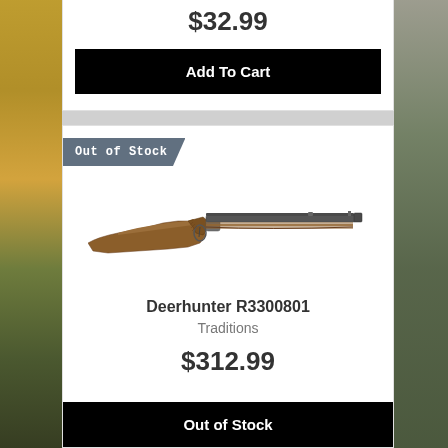$32.99
Add To Cart
Out of Stock
[Figure (photo): Traditions Deerhunter R3300801 muzzleloader rifle with wood stock and blued barrel, shown in side profile against white background]
Deerhunter R3300801
Traditions
$312.99
Out of Stock